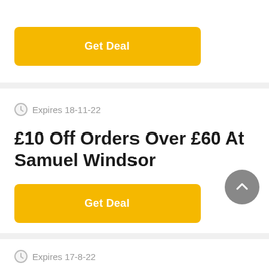[Figure (other): Yellow 'Get Deal' button at top of page (partial card)]
Expires 18-11-22
£10 Off Orders Over £60 At Samuel Windsor
[Figure (other): Yellow 'Get Deal' button]
Expires 17-8-22
25% Off Your All Orders Now